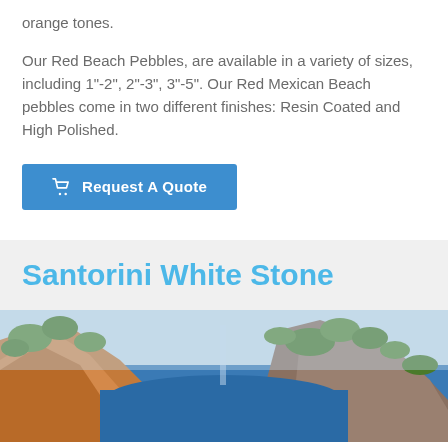orange tones.
Our Red Beach Pebbles, are available in a variety of sizes, including 1"-2", 2"-3", 3"-5". Our Red Mexican Beach pebbles come in two different finishes: Resin Coated and High Polished.
Request A Quote
Santorini White Stone
[Figure (photo): Aerial or cliff-side landscape photo showing rocky cliffs, green vegetation, and blue water/bay below, reminiscent of a Greek or Mediterranean coastal scene.]